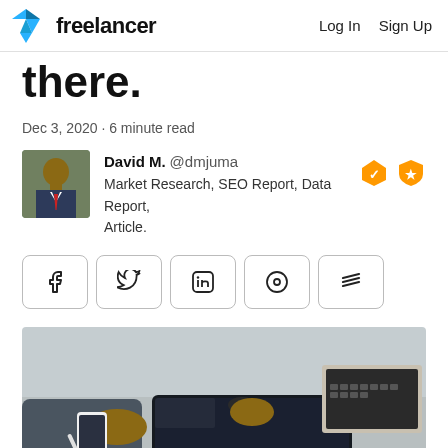Freelancer | Log In | Sign Up
there.
Dec 3, 2020 · 6 minute read
David M. @dmjuma
Market Research, SEO Report, Data Report, Article.
[Figure (screenshot): Social sharing buttons: Facebook, Twitter, LinkedIn, Pinterest, and a share icon]
[Figure (photo): Person using a smartphone and tablet on a desk with a laptop in the background]